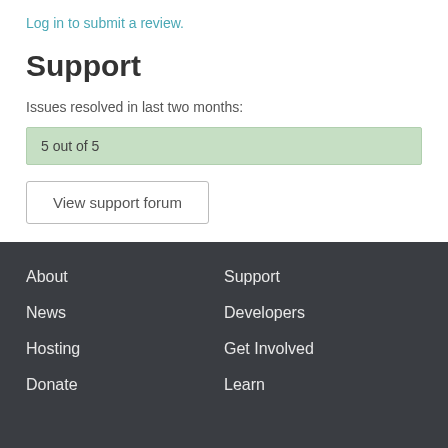Log in to submit a review.
Support
Issues resolved in last two months:
5 out of 5
View support forum
About
News
Hosting
Donate
Support
Developers
Get Involved
Learn